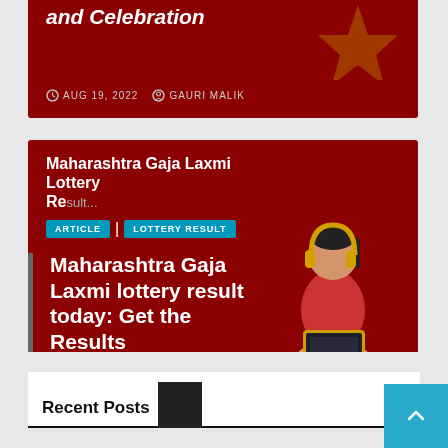[Figure (screenshot): Partial top card with dark red background showing cut-off bold italic title text and meta info with AUG 19, 2022 and GAURI MALIK]
AUG 19, 2022   GAURI MALIK
[Figure (screenshot): Second article card with dark red background showing Maharashtra Gaja Laxmi Lottery article with ARTICLE and LOTTERY RESULT tags, large white bold title, Check Details Here subtitle, and AUG 19, 2022 ADITYA MISHRA meta, plus an illustration of a person with headphones sitting with a laptop]
ARTICLE   LOTTERY RESULT
Maharashtra Gaja Laxmi lottery result today: Get the Results
Check Details Here!
AUG 19, 2022   ADITYA MISHRA
Recent Posts